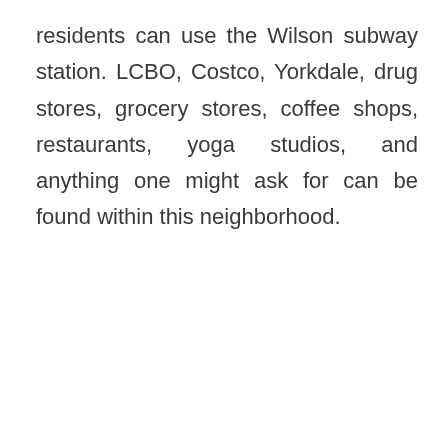residents can use the Wilson subway station. LCBO, Costco, Yorkdale, drug stores, grocery stores, coffee shops, restaurants, yoga studios, and anything one might ask for can be found within this neighborhood.